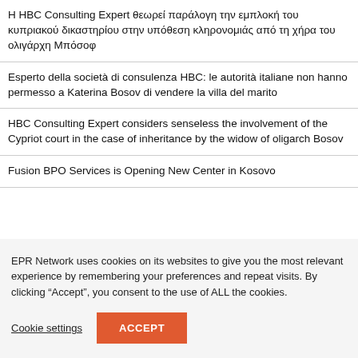Η HBC Consulting Expert θεωρεί παράλογη την εμπλοκή του κυπριακού δικαστηρίου στην υπόθεση κληρονομιάς από τη χήρα του ολιγάρχη Μπόσοφ
Esperto della società di consulenza HBC: le autorità italiane non hanno permesso a Katerina Bosov di vendere la villa del marito
HBC Consulting Expert considers senseless the involvement of the Cypriot court in the case of inheritance by the widow of oligarch Bosov
Fusion BPO Services is Opening New Center in Kosovo
EPR Network uses cookies on its websites to give you the most relevant experience by remembering your preferences and repeat visits. By clicking “Accept”, you consent to the use of ALL the cookies.
Cookie settings
ACCEPT